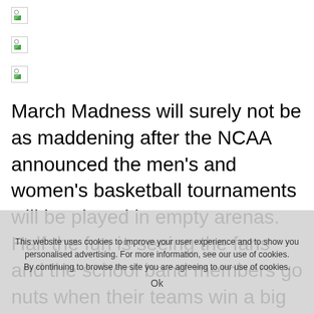[Figure (other): Three broken/placeholder image icons stacked vertically]
March Madness will surely not be as maddening after the NCAA announced the men's and women's basketball tournaments will be played in empty arenas. Half the fun is seeing the fans and the school band members go nuts when their teams win a big game, and flail in despair when their schools collapse under the pressure of the Final Four.

Baseball's Seattle Mariners have postponed
This website uses cookies to improve your user experience and to show you personalised advertising. For more information, see our use of cookies.
By continuing to browse the site you are agreeing to our use of cookies.
Ok